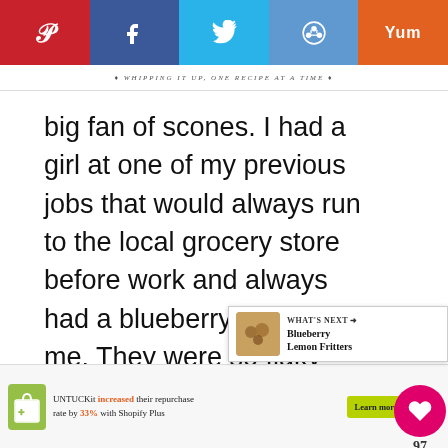Social share bar: Pinterest, Facebook, Twitter, Reddit, Yummly
big fan of scones. I had a girl at one of my previous jobs that would always run to the local grocery store before work and always had a blueberry scone for me. They were so flaky and delicious that it was instant love right from the beginning. Now I'm not prejeduce over flavors or nothing but blueberry and lemon were just a match made in heaven. So how about we get on to it shall we?
[Figure (other): What's Next panel with thumbnail image of Blueberry Lemon Fritters]
[Figure (other): Advertisement banner: UNTUCKit increased their repurchase rate by 33% with Shopify Plus. Learn more button.]